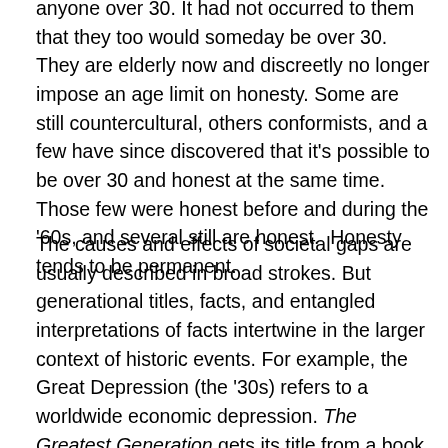would someday be over 30. They are elderly now and discreetly no longer impose an age limit on honesty. Some are still countercultural, others conformists, and a few have since discovered that it's possible to be over 30 and honest at the same time. Those few were honest before and during the '60s, and several still are honest. Honesty tends to be permanent.
The causes and effects of societal gaps are usually described in broad strokes. But generational titles, facts, and entangled interpretations of facts intertwine in the larger context of historic events. For example, the Great Depression (the '30s) refers to a worldwide economic depression. The Greatest Generation gets its title from a book written decades later ('90s) by a famous commentator in deference to the heroism of depression